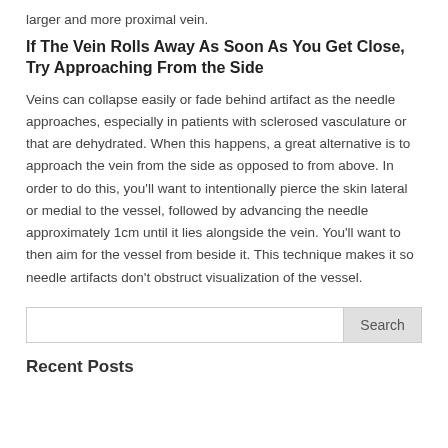larger and more proximal vein.
If The Vein Rolls Away As Soon As You Get Close, Try Approaching From the Side
Veins can collapse easily or fade behind artifact as the needle approaches, especially in patients with sclerosed vasculature or that are dehydrated. When this happens, a great alternative is to approach the vein from the side as opposed to from above. In order to do this, you'll want to intentionally pierce the skin lateral or medial to the vessel, followed by advancing the needle approximately 1cm until it lies alongside the vein. You'll want to then aim for the vessel from beside it. This technique makes it so needle artifacts don't obstruct visualization of the vessel.
Search
Recent Posts